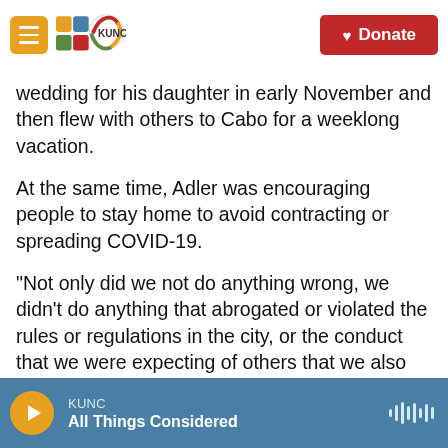KUNC — Donate
wedding for his daughter in early November and then flew with others to Cabo for a weeklong vacation.
At the same time, Adler was encouraging people to stay home to avoid contracting or spreading COVID-19.
"Not only did we not do anything wrong, we didn't do anything that abrogated or violated the rules or regulations in the city, or the conduct that we were expecting of others that we also expect of ourselves," Adler initially told KUT.
KUNC — All Things Considered